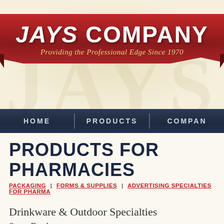[Figure (logo): Jays Company ribbon banner logo with red ribbon, white bold text 'JAYS COMPANY' and gold italic tagline 'Providing the Professional Edge Since 1970' on cream background]
HOME | PRODUCTS | COMPANY
PRODUCTS FOR PHARMACIES
PACKAGING | FORMS & SUPPLIES | ADVERTISING SPECIALTIES FOR PHARMA
Drinkware & Outdoor Specialties
Sport Bottles
Help customers “Go Green” with reuseable water bottles made from BPA-free plastic, stainless steel or aluminum. We offer a variety of styles, colors and price points - give us a call for more details.